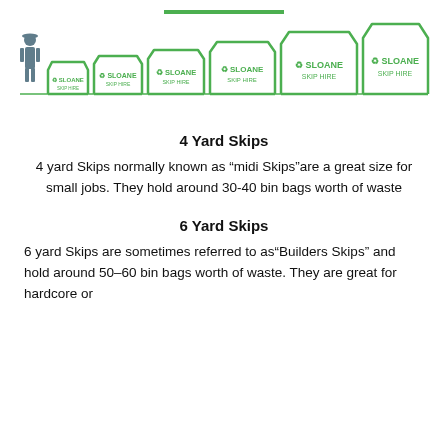[Figure (infographic): Decorative green horizontal bar separator]
[Figure (infographic): Row of skip containers of increasing sizes with Sloane Skip Hire logos and a human figure for scale reference]
4 Yard Skips
4 yard Skips normally known as "midi Skips"are a great size for small jobs. They hold around 30-40 bin bags worth of waste
6 Yard Skips
6 yard Skips are sometimes referred to as"Builders Skips" and hold around 50–60 bin bags worth of waste. They are great for hardcore or